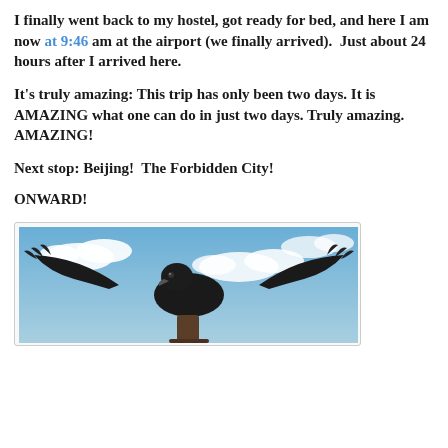I finally went back to my hostel, got ready for bed, and here I am now at 9:46 am at the airport (we finally arrived).  Just about 24 hours after I arrived here.
It's truly amazing: This trip has only been two days. It is AMAZING what one can do in just two days. Truly amazing. AMAZING!
Next stop: Beijing!  The Forbidden City!
ONWARD!
[Figure (photo): A black bird (likely a condor or vulture) with wings spread wide, perched on something, against a blue sky with white clouds.]